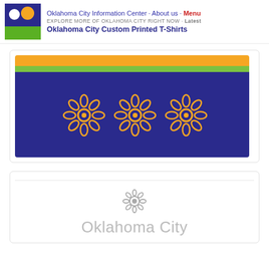Oklahoma City Information Center · About us · Menu
EXPLORE MORE OF OKLAHOMA CITY RIGHT NOW · Latest
Oklahoma City Custom Printed T-Shirts
[Figure (illustration): Oklahoma City flag banner with blue background, gold and green horizontal stripes at top, and three gold flower/snowflake emblems in the center]
[Figure (logo): Gray circular gear/snowflake style Oklahoma City logo icon]
Oklahoma City